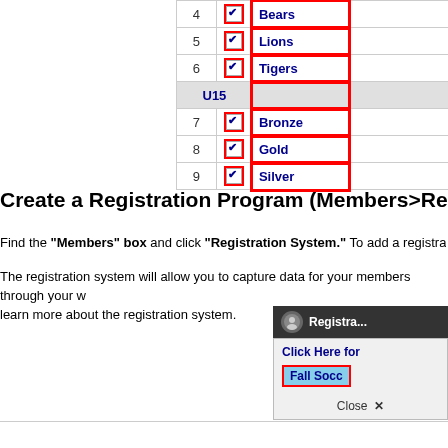[Figure (screenshot): Partial screenshot of a registration program table showing rows 4-9 with checkboxes and team/division names: Bears, Lions, Tigers (rows 4-6), U15 group header, Bronze, Gold, Silver (rows 7-9). A red outline highlights the checkbox and name columns.]
Create a Registration Program (Members>Registration...
Find the "Members" box and click "Registration System." To add a registration prog...
The registration system will allow you to capture data for your members through your... learn more about the registration system.
[Figure (screenshot): Partial screenshot of a Registration widget popup in the bottom right corner showing a header with icon and 'Registra...' text, a 'Click Here for' link, a red-outlined blue button labeled 'Fall Socc...' and a Close X button.]